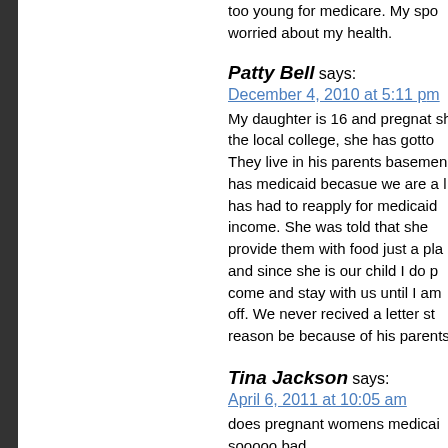too young for medicare. My spo worried about my health.
Patty Bell says:
December 4, 2010 at 5:11 pm
My daughter is 16 and pregnat sh the local college, she has gotto They live in his parents basemen has medicaid becasue we are a l has had to reapply for medicaid income. She was told that she provide them with food just a pla and since she is our child I do p come and stay with us until I am off. We never recived a letter st reason be because of his parents
Tina Jackson says:
April 6, 2011 at 10:05 am
does pregnant womens medicai sooooo bad
LeAnn Johnson says:
May 10, 2011 at 9:27 am